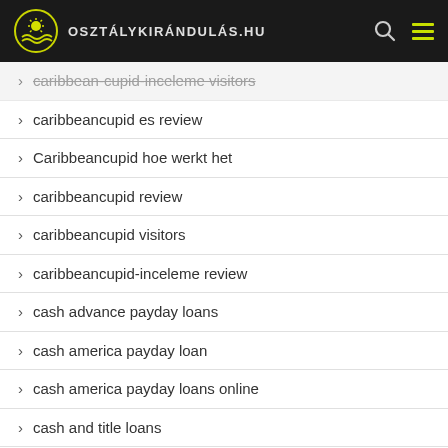osztálykirándulás.hu
caribbean-cupid-inceleme visitors
caribbeancupid es review
Caribbeancupid hoe werkt het
caribbeancupid review
caribbeancupid visitors
caribbeancupid-inceleme review
cash advance payday loans
cash america payday loan
cash america payday loans online
cash and title loans
cash express payday loan fees